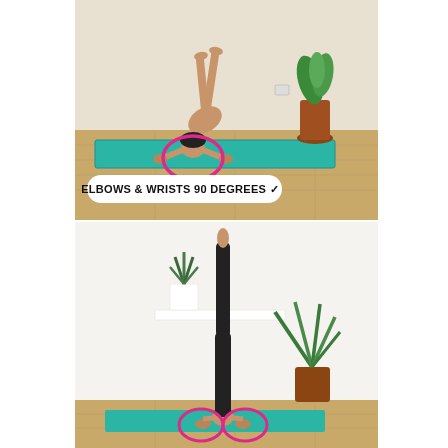[Figure (photo): Person performing a headstand preparation pose on a teal yoga mat in a room with wooden floor. A pink circle highlights the elbow/wrist position showing 90 degree angle. Text overlay reads ELBOWS & WRISTS 90 DEGREES with a checkmark.]
[Figure (photo): Person performing a full headstand on a teal yoga mat against a white wall, with legs fully extended upward. Pink circles highlight the hand/arm positioning at the base.]